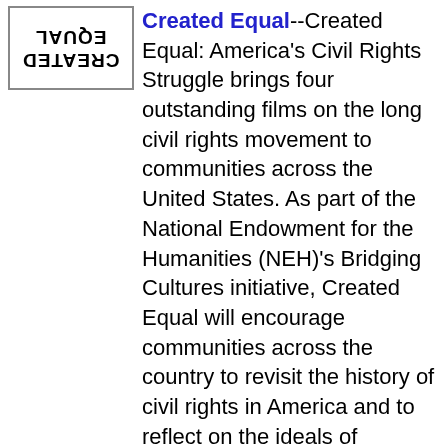[Figure (logo): Created Equal logo, mirrored/upside-down text showing CREATED EQUAL in black bold letters with a rectangular border]
Created Equal--Created Equal: America's Civil Rights Struggle brings four outstanding films on the long civil rights movement to communities across the United States. As part of the National Endowment for the Humanities (NEH)'s Bridging Cultures initiative, Created Equal will encourage communities across the country to revisit the history of civil rights in America and to reflect on the ideals of freedom and equality that have helped bridge deep racial and cultural divides in our civic life. Four outstanding documentary films, spanning the period from the 1830s to the 1960s, are the centerpiece for this project. Each of these films was supported by NEH, and each tells remarkable stories of individuals who challenged the social and legal status quo of deeply rooted institutions, from slavery to segregation.
[Figure (logo): Internet Archive logo showing a pillared building/temple icon with INTERNET ARCHIVE text around it]
FedFlix-- Joint venture between the National Technical Information Service and PublicResource.org. They